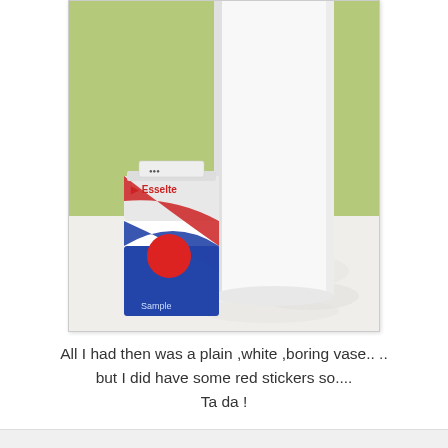[Figure (photo): A white tall rectangular vase standing on a white fabric/cloth surface against a green wall. Next to the base of the vase is a small Esselte brand box of red sticker dots labeled 'Sample', with red white and blue packaging and a large red circular sticker on the front.]
All I had then was a plain ,white ,boring vase.. .. but I did have some red stickers so.... Ta da !